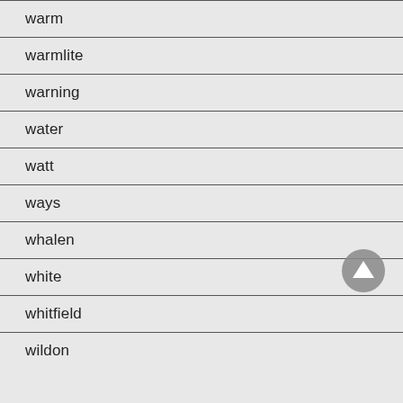warm
warmlite
warning
water
watt
ways
whalen
white
whitfield
wildon